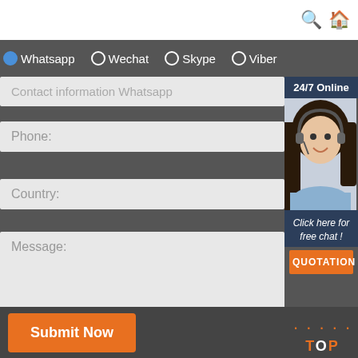[Figure (screenshot): Contact form UI screenshot with radio buttons for Whatsapp, Wechat, Skype, Viber, input fields for contact info, phone, country, message, a 24/7 online chat widget, submit button, and TOP navigation icon]
Whatsapp
Wechat
Skype
Viber
Contact information Whatsapp
Phone:
Country:
Message:
24/7 Online
Click here for free chat !
QUOTATION
Submit Now